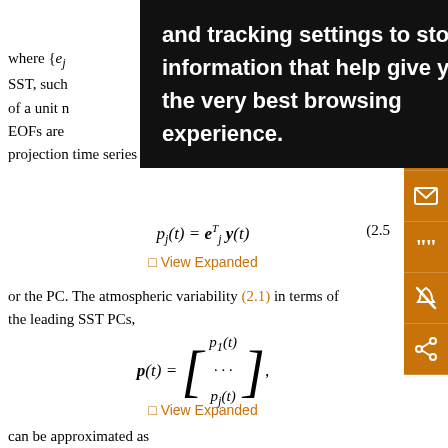where {e_j} ... or SST, such ... h EOF of a unit n ... he EOFs are ... projection time series can be derived simply as
View Expanded
or the PC. The atmospheric variability (2.1) in terms of the leading SST PCs,
View Expanded
can be approximated as